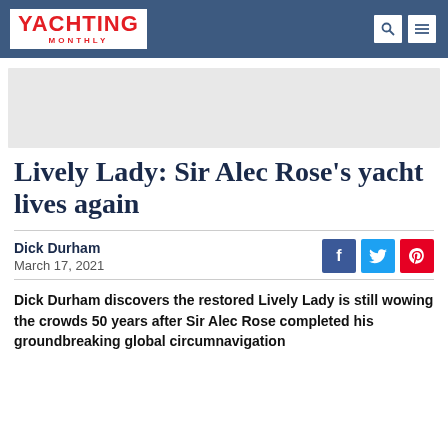YACHTING MONTHLY
[Figure (other): Advertisement placeholder area (grey box)]
Lively Lady: Sir Alec Rose's yacht lives again
Dick Durham
March 17, 2021
Dick Durham discovers the restored Lively Lady is still wowing the crowds 50 years after Sir Alec Rose completed his groundbreaking global circumnavigation